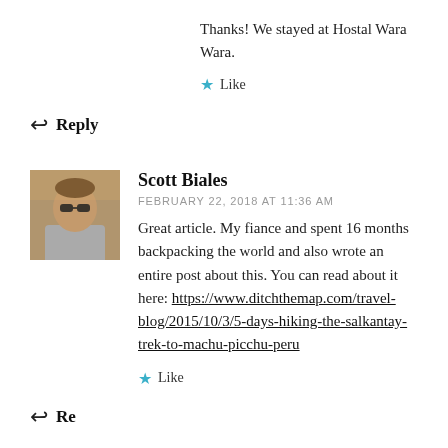Thanks! We stayed at Hostal Wara Wara.
★ Like
↩ Reply
[Figure (photo): Avatar photo of Scott Biales, a man wearing sunglasses and a grey t-shirt outdoors]
Scott Biales
FEBRUARY 22, 2018 AT 11:36 AM
Great article. My fiance and spent 16 months backpacking the world and also wrote an entire post about this. You can read about it here: https://www.ditchthemap.com/travel-blog/2015/10/3/5-days-hiking-the-salkantay-trek-to-machu-picchu-peru
★ Like
↩ Reply